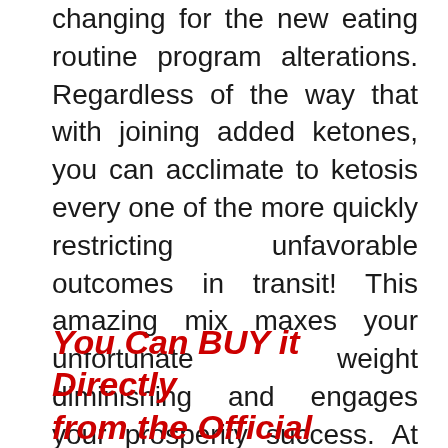changing for the new eating routine program alterations. Regardless of the way that with joining added ketones, you can acclimate to ketosis every one of the more quickly restricting unfavorable outcomes in transit! This amazing mix maxes your unfortunate weight diminishing and engages your prosperity success. At any rate, the more broadened stopping, the fundamentally more likely this fabulous deal could end, or supplies could get inaccessible.
You Can BUY it Directly from the Official